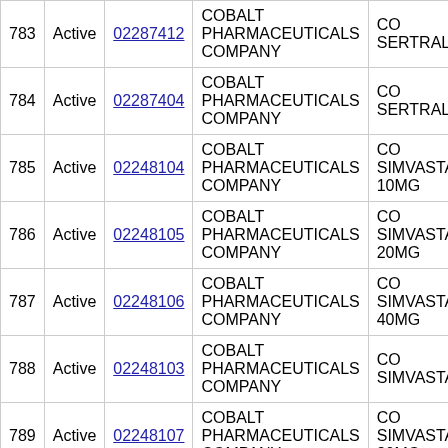| # | Status | DIN | Company | Product |
| --- | --- | --- | --- | --- |
| 783 | Active | 02287412 | COBALT PHARMACEUTICALS COMPANY | CO SERTRALINE |
| 784 | Active | 02287404 | COBALT PHARMACEUTICALS COMPANY | CO SERTRALINE |
| 785 | Active | 02248104 | COBALT PHARMACEUTICALS COMPANY | CO SIMVASTATIN 10MG |
| 786 | Active | 02248105 | COBALT PHARMACEUTICALS COMPANY | CO SIMVASTATIN 20MG |
| 787 | Active | 02248106 | COBALT PHARMACEUTICALS COMPANY | CO SIMVASTATIN 40MG |
| 788 | Active | 02248103 | COBALT PHARMACEUTICALS COMPANY | CO SIMVASTATIN |
| 789 | Active | 02248107 | COBALT PHARMACEUTICALS COMPANY | CO SIMVASTATIN 80MG |
| 790 | Active | 02270625 | COBALT PHARMACEUTICALS COMPANY | CO SOTALOL |